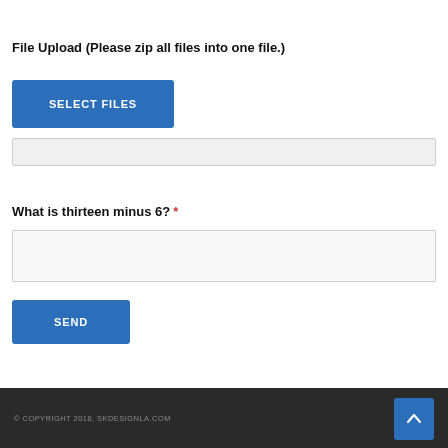File Upload (Please zip all files into one file.)
[Figure (screenshot): Blue SELECT FILES button]
[Figure (screenshot): File input text box (empty, light gray background)]
What is thirteen minus 6? *
[Figure (screenshot): Text input box for math answer (empty, light gray background)]
[Figure (screenshot): Blue SEND button]
© COPYRIGHT 2018, SKDESIGNLA.COM